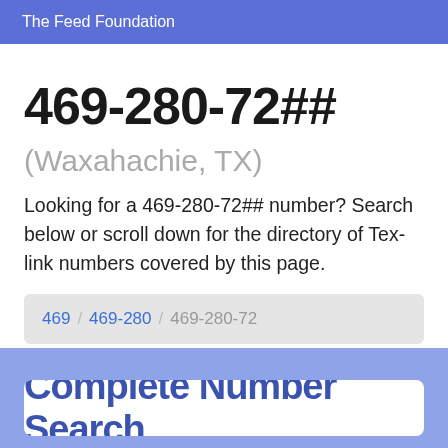The Feed Foundation
469-280-72##
(Waxahachie, TX)
Looking for a 469-280-72## number? Search below or scroll down for the directory of Tex-link numbers covered by this page.
469 / 469-280 / 469-280-72